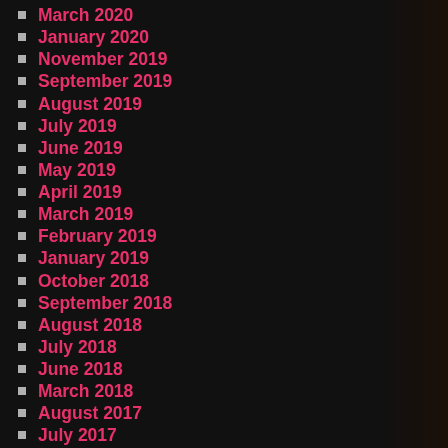March 2020
January 2020
November 2019
September 2019
August 2019
July 2019
June 2019
May 2019
April 2019
March 2019
February 2019
January 2019
October 2018
September 2018
August 2018
July 2018
June 2018
March 2018
August 2017
July 2017
June 2017